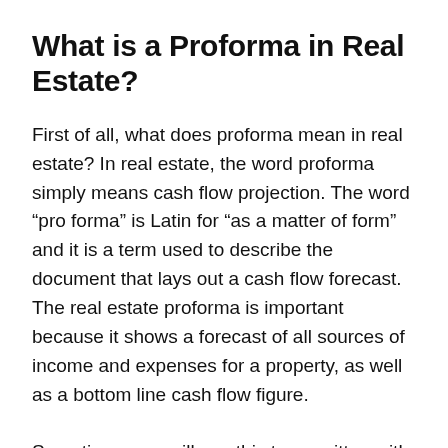What is a Proforma in Real Estate?
First of all, what does proforma mean in real estate? In real estate, the word proforma simply means cash flow projection. The word “pro forma” is Latin for “as a matter of form” and it is a term used to describe the document that lays out a cash flow forecast. The real estate proforma is important because it shows a forecast of all sources of income and expenses for a property, as well as a bottom line cash flow figure.
Sometimes you will see this term written with